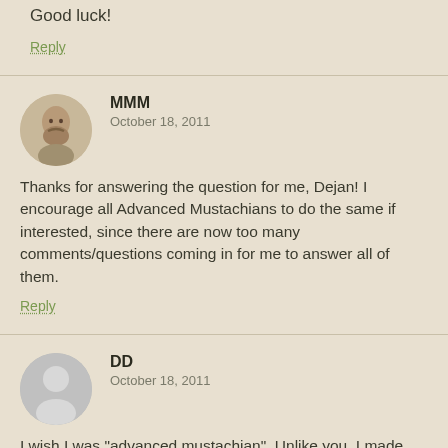Good luck!
Reply
MMM
October 18, 2011
Thanks for answering the question for me, Dejan! I encourage all Advanced Mustachians to do the same if interested, since there are now too many comments/questions coming in for me to answer all of them.
Reply
DD
October 18, 2011
I wish I was "advanced mustachian". Unlike you, I made every mistake known to man. I dug the hole and have spent last 4 years pulling myself out. Currently, I am in the 5 o'clock shadow phase, working towards Clarke Gable-like thin mustache.